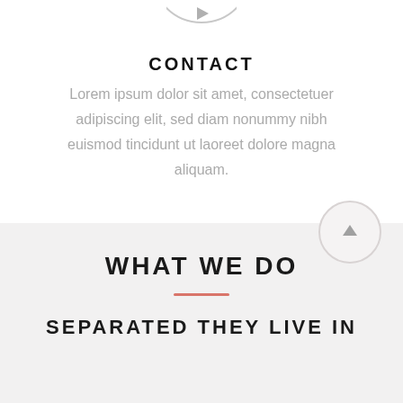[Figure (illustration): Partial circle icon at the top of the page with an arrow pointing right, grey bordered circle]
CONTACT
Lorem ipsum dolor sit amet, consectetuer adipiscing elit, sed diam nonummy nibh euismod tincidunt ut laoreet dolore magna aliquam.
WHAT WE DO
[Figure (illustration): Circle button with upward arrow, grey bordered circle on light grey background]
SEPARATED THEY LIVE IN